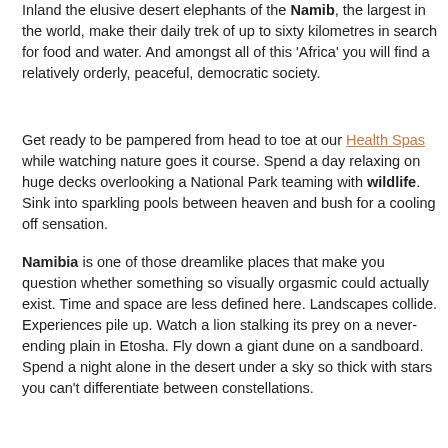Inland the elusive desert elephants of the Namib, the largest in the world, make their daily trek of up to sixty kilometres in search for food and water. And amongst all of this 'Africa' you will find a relatively orderly, peaceful, democratic society.
Get ready to be pampered from head to toe at our Health Spas while watching nature goes it course. Spend a day relaxing on huge decks overlooking a National Park teaming with wildlife. Sink into sparkling pools between heaven and bush for a cooling off sensation.
Namibia is one of those dreamlike places that make you question whether something so visually orgasmic could actually exist. Time and space are less defined here. Landscapes collide. Experiences pile up. Watch a lion stalking its prey on a never-ending plain in Etosha. Fly down a giant dune on a sandboard. Spend a night alone in the desert under a sky so thick with stars you can't differentiate between constellations.
Whether you are looking for a picturesque holiday for the whole family, or a romantic breakaway, Namibia Game Lodges & Reserves will ensure that it is unforgettable. Our directory boasts with a wide variety of Safari and Game Lodges, not even to mention the Wildlife Reserves which will leave you in awe for the beauty of Namibia.
Latest Listings